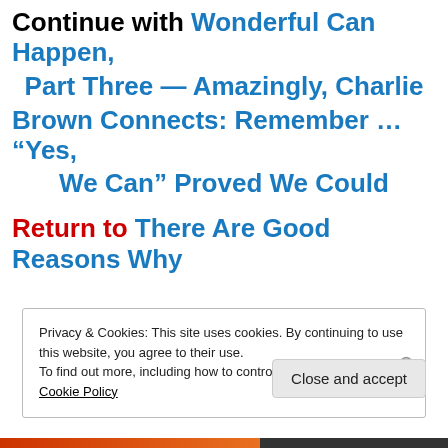Continue with Wonderful Can Happen, Part Three — Amazingly, Charlie Brown Connects: Remember … “Yes, We Can” Proved We Could
Return to There Are Good Reasons Why
Privacy & Cookies: This site uses cookies. By continuing to use this website, you agree to their use.
To find out more, including how to control cookies, see here: Cookie Policy